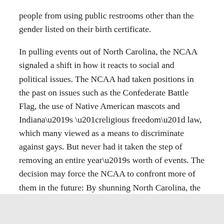people from using public restrooms other than the gender listed on their birth certificate.
In pulling events out of North Carolina, the NCAA signaled a shift in how it reacts to social and political issues. The NCAA had taken positions in the past on issues such as the Confederate Battle Flag, the use of Native American mascots and Indiana’s “religious freedom” law, which many viewed as a means to discriminate against gays. But never had it taken the step of removing an entire year’s worth of events. The decision may force the NCAA to confront more of them in the future: By shunning North Carolina, the organization could be seen as tacitly endorsing local law in any state or city that hosts its events.